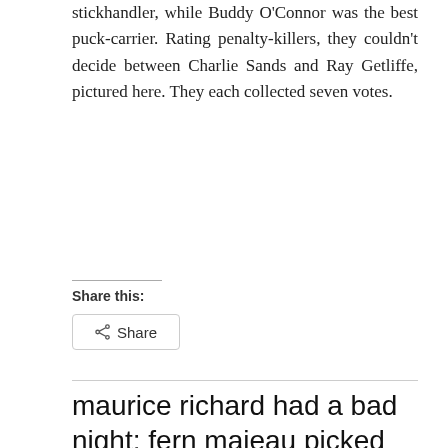stickhandler, while Buddy O'Connor was the best puck-carrier. Rating penalty-killers, they couldn't decide between Charlie Sands and Ray Getliffe, pictured here. They each collected seven votes.
Share this:
Share
maurice richard had a bad night; fern majeau picked up a pocketful of pennies